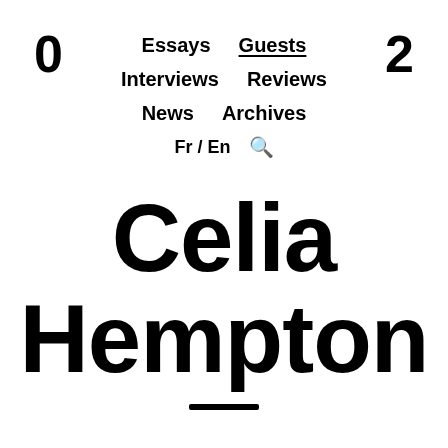0
2
Essays  Guests  Interviews  Reviews  News  Archives  Fr / En  🔍
Celia Hempton
—